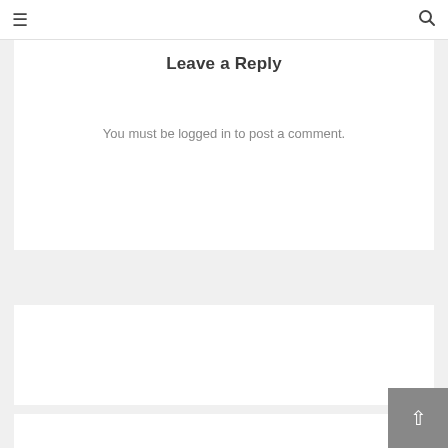≡  🔍
Leave a Reply
You must be logged in to post a comment.